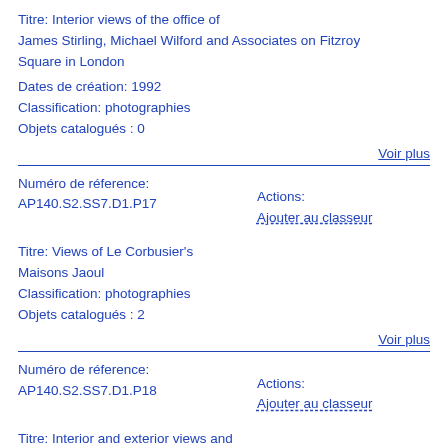Titre: Interior views of the office of James Stirling, Michael Wilford and Associates on Fitzroy Square in London
Dates de création: 1992
Classification: photographies
Objets catalogués : 0
Voir plus
Numéro de réference: AP140.S2.SS7.D1.P17
Actions: Ajouter au classeur
Titre: Views of Le Corbusier's Maisons Jaoul
Classification: photographies
Objets catalogués : 2
Voir plus
Numéro de réference: AP140.S2.SS7.D1.P18
Actions: Ajouter au classeur
Titre: Interior and exterior views and